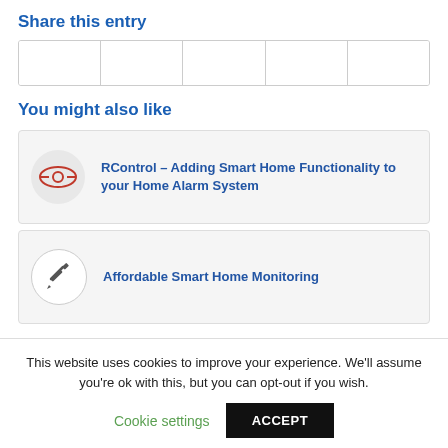Share this entry
[Figure (other): Five empty share button boxes in a row]
You might also like
[Figure (illustration): Card with eye icon linking to: RControl – Adding Smart Home Functionality to your Home Alarm System]
RControl – Adding Smart Home Functionality to your Home Alarm System
[Figure (illustration): Card with pencil/edit icon linking to: Affordable Smart Home Monitoring]
Affordable Smart Home Monitoring
This website uses cookies to improve your experience. We'll assume you're ok with this, but you can opt-out if you wish.
Cookie settings
ACCEPT